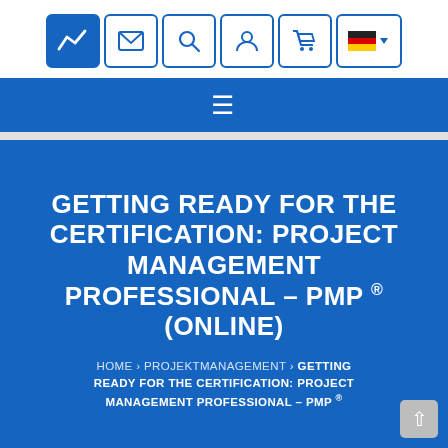[Figure (screenshot): Website header navigation bar with logo box (blue with white zigzag chart icon), envelope icon, search icon, person icon, cart icon, German flag dropdown icon — all in rounded square border boxes]
[Figure (screenshot): Blue navigation bar with hamburger menu icon (three horizontal lines) centered]
GETTING READY FOR THE CERTIFICATION: PROJECT MANAGEMENT PROFESSIONAL – PMP ® (ONLINE)
HOME › PROJEKTMANAGEMENT › GETTING READY FOR THE CERTIFICATION: PROJECT MANAGEMENT PROFESSIONAL – PMP ®